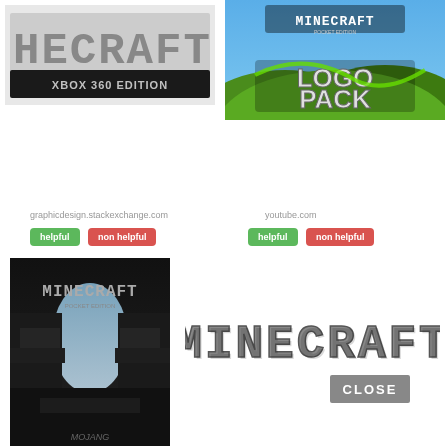[Figure (logo): Minecraft Xbox 360 Edition logo on grey/white background]
[Figure (logo): Minecraft Pocket Edition Logo Pack image with green landscape background]
graphicdesign.stackexchange.com
youtube.com
helpful
non helpful
helpful
non helpful
[Figure (illustration): Minecraft Pocket Edition game cover art, dark background with creeper landscape, MOJANG text at bottom]
[Figure (logo): Minecraft logo in grey block letters with CLOSE button overlay]